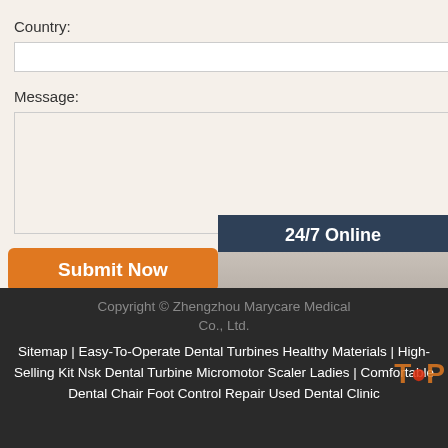Country:
Message:
Submit Now
[Figure (photo): 24/7 Online chat widget with photo of smiling woman wearing headset, dark blue background, 'Click here for free chat!' text and orange QUOTATION button]
Copyright © Zhengzhou Marycare Medical Co., Ltd.
Sitemap | Easy-To-Operate Dental Turbines Healthy Materials | High-Selling Kit Nsk Dental Turbine Micromotor Scaler Ladies | Comfortable Dental Chair Foot Control Repair Used Dental Clinic